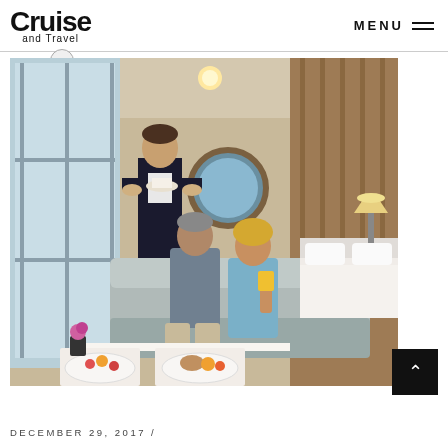Cruise and Travel  MENU
[Figure (photo): A cruise ship cabin scene with a steward in dark uniform serving coffee to a couple relaxing on a sofa. A table in front has plates of fruit and pastries. The cabin has a porthole window, warm wood paneling, and a bed in the background.]
DECEMBER 29, 2017 /